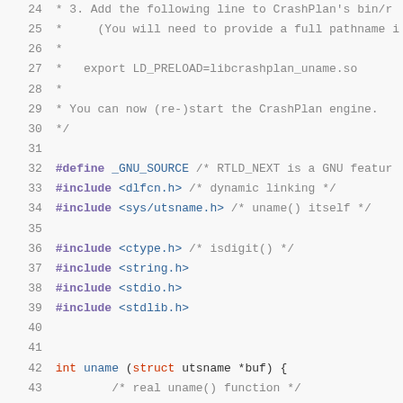[Figure (screenshot): Source code listing showing C code with line numbers 24-46, including preprocessor directives, includes, and function definition for uname()]